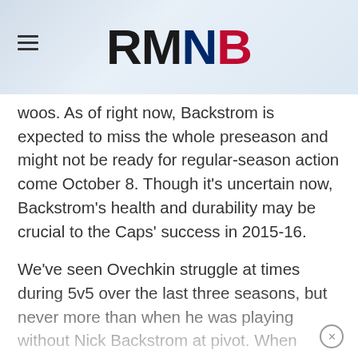RMNB
woos. As of right now, Backstrom is expected to miss the whole preseason and might not be ready for regular-season action come October 8. Though it’s uncertain now, Backstrom’s health and durability may be crucial to the Caps’ success in 2015-16.
We’ve seen Ovechkin struggle at times during 5v5 over the last three seasons, but never more than when he was playing without Nick Backstrom at pivot. When Backstrom is on the shelf, Ovi and the Caps’ possession dropped from 52.5 percent to 47.2 percent.